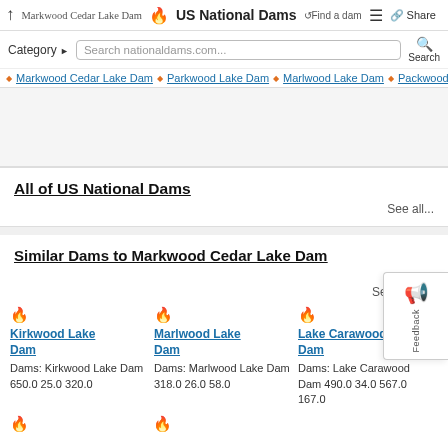↑ Markwood Cedar Lake Dam 🔥 US National Dams ↺Find a dam ≡ 🔗 Share
Category ▶ Search nationaldams.com... Search
🔥 Markwood Cedar Lake Dam 🔥 Parkwood Lake Dam 🔥 Marlwood Lake Dam 🔥 Packwood Lake D
All of US National Dams
See all...
Similar Dams to Markwood Cedar Lake Dam
See all... ›
🔥 Kirkwood Lake Dam
Dams: Kirkwood Lake Dam 650.0 25.0 320.0
🔥 Marlwood Lake Dam
Dams: Marlwood Lake Dam 318.0 26.0 58.0
🔥 Lake Carawood Dam
Dams: Lake Carawood Dam 490.0 34.0 567.0 167.0